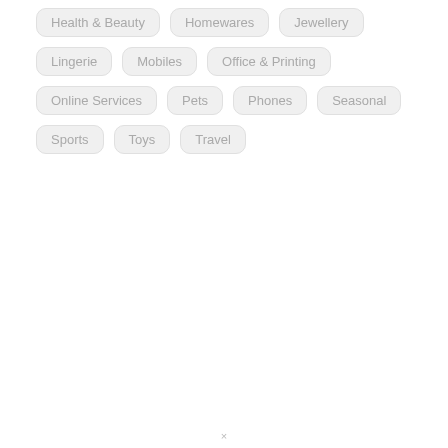Health & Beauty
Homewares
Jewellery
Lingerie
Mobiles
Office & Printing
Online Services
Pets
Phones
Seasonal
Sports
Toys
Travel
×